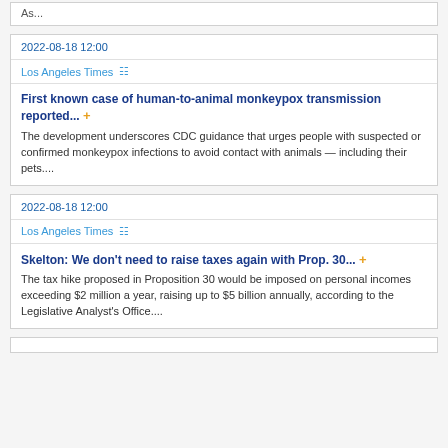As...
2022-08-18 12:00
Los Angeles Times
First known case of human-to-animal monkeypox transmission reported...
The development underscores CDC guidance that urges people with suspected or confirmed monkeypox infections to avoid contact with animals — including their pets....
2022-08-18 12:00
Los Angeles Times
Skelton: We don't need to raise taxes again with Prop. 30...
The tax hike proposed in Proposition 30 would be imposed on personal incomes exceeding $2 million a year, raising up to $5 billion annually, according to the Legislative Analyst's Office....